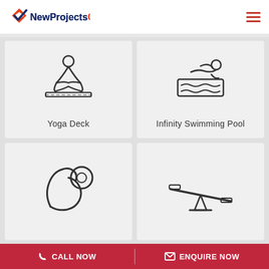NewProjectsOnline.Com
[Figure (illustration): Yoga person sitting in lotus pose on a mat icon]
Yoga Deck
[Figure (illustration): Person swimming in pool icon]
Infinity Swimming Pool
[Figure (illustration): Gym/fitness arm with dumbbell icon]
[Figure (illustration): Seesaw/teeter-totter playground icon]
CALL NOW   ENQUIRE NOW